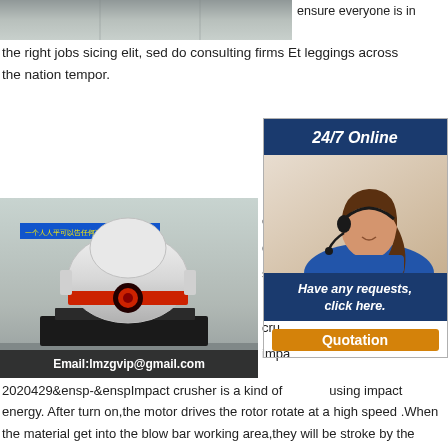[Figure (photo): Top portion of industrial building/machinery photo, cropped]
ensure everyone is in the right jobs sicing elit, sed do consulting firms Et leggings across the nation tempor.
[Figure (photo): Large cone/impact crusher machine in industrial setting with blue sign in Chinese, red and white body. Email overlay: Email:lmzgvip@gmail.com]
cru... disc... size... Impa... cru... impa...
[Figure (infographic): 24/7 Online sidebar with photo of woman with headset, Have any requests, click here. button and Quotation button]
2020429&ensp-&enspImpact crusher is a kind of using impact energy. After turn on,the motor drives the rotor rotate at a high speed .When the material get into the blow bar working area,they will be stroke by the blow bar and thrown to the impact devices around the rotor.The material will come out from the discharge hole